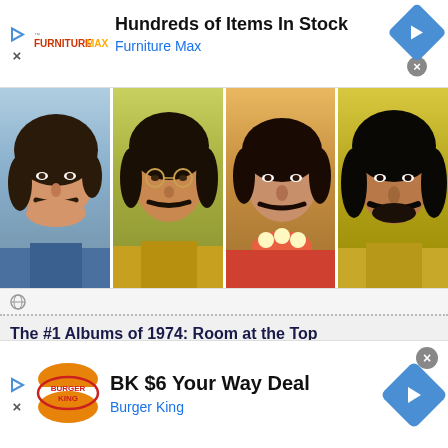[Figure (infographic): Furniture Max advertisement banner with logo, headline 'Hundreds of Items In Stock', subtext 'Furniture Max', play button, close button, and blue diamond navigation icon]
[Figure (photo): Four portrait photos of The Beatles members (Paul, John, Ringo, George) from Sgt. Pepper's era, side by side]
The #1 Albums of 1974: Room at the Top
[Figure (photo): Three album cover thumbnails for 1974 #1 albums]
[Figure (infographic): Burger King advertisement banner with BK logo, headline 'BK $6 Your Way Deal', subtext 'Burger King', play button, close button, and blue diamond navigation icon]